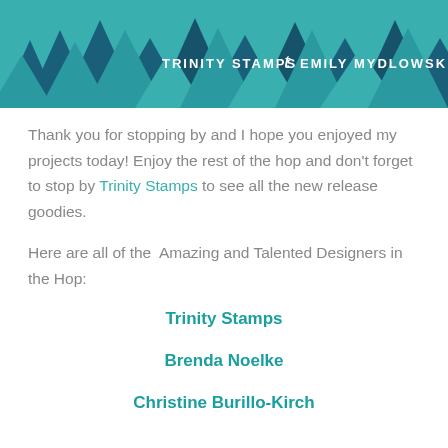[Figure (illustration): Trinity Stamps header banner with geometric mountain/diamond shapes in teal and dark teal colors, with white text reading TRINITY STAMPS t EMILY MYDLOWSKI]
Thank you for stopping by and I hope you enjoyed my projects today! Enjoy the rest of the hop and don't forget to stop by Trinity Stamps to see all the new release goodies.
Here are all of the  Amazing and Talented Designers in the Hop:
Trinity Stamps
Brenda Noelke
Christine Burillo-Kirch